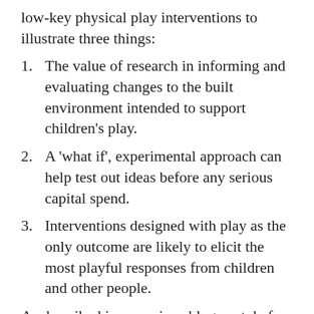low-key physical play interventions to illustrate three things:
The value of research in informing and evaluating changes to the built environment intended to support children's play.
A 'what if', experimental approach can help test out ideas before any serious capital spend.
Interventions designed with play as the only outcome are likely to elicit the most playful responses from children and other people.
As described in a previous blog post, before Chester Zoo invested significant financial and human resources in improving opportunities for the more active and energetic play that